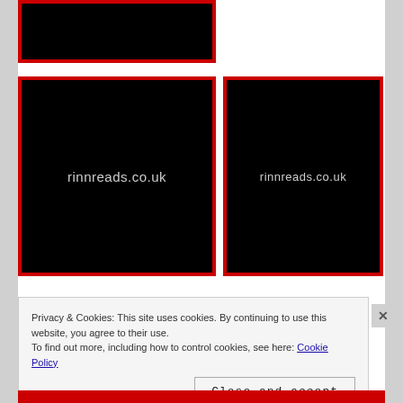[Figure (photo): Black image placeholder with red border at top, partially cropped]
[Figure (logo): Black image with red border showing text 'rinnreads.co.uk' in gray]
[Figure (logo): Black image with red border showing text 'rinnreads.co.uk' in gray]
Privacy & Cookies: This site uses cookies. By continuing to use this website, you agree to their use.
To find out more, including how to control cookies, see here: Cookie Policy
Close and accept